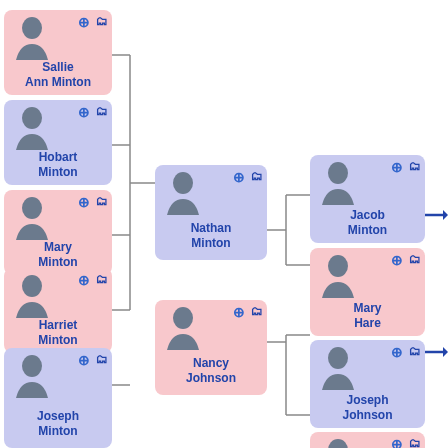[Figure (organizational-chart): Family tree / genealogy chart showing ancestors and descendants. Left column: Sallie Ann Minton (pink), Hobart Minton (blue), Mary Minton (pink), Harriet Minton (pink), Joseph Minton (blue). Center: Nathan Minton (blue) and Nancy Johnson (pink). Right: Jacob Minton (blue), Mary Hare (pink), Joseph Johnson (blue), and a partially visible pink card at bottom. Arrows point off-screen to the right from Jacob Minton and Joseph Johnson rows. Connected by bracket lines.]